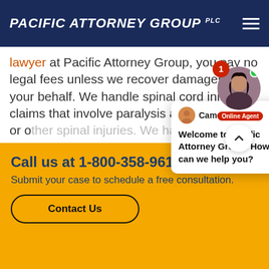[Figure (logo): Pacific Attorney Group PLC logo in white italic bold text on navy background with hamburger menu icon]
lawyer at Pacific Attorney Group, you pay no legal fees unless we recover damages on your behalf. We handle spinal cord injury claims that involve paralysis and paraplegia or other spinal injuries. We have years of legal experience and the financial resources to fully investigate your claim and use aggressive legal strategies that protect our clients rights and interests.
[Figure (screenshot): Chat popup from Camelia: Welcome to Pacific Attorney Group! How can we help you?]
[Figure (photo): Online agent photo with notification badge showing 1, green online dot, and Online Agent label]
Call us at 1-800-358-9617 or...
Submit your case to schedule a free consultation.
Contact Us